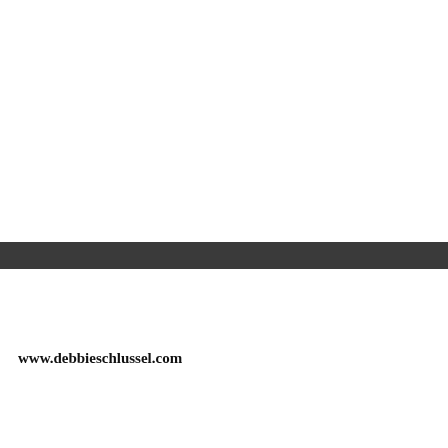www.debbieschlussel.com
about it on my first rec...
Washington Keta or Socke...
Are razor clams kosher?
NO, THE KOSHER RULE FOR FISH MUST HAVE HAD BOTH FINS AND S... SHELLFISH, SWORDFISH, OCTOPU... DEBBIE SCHLUSSEL
J-Lin on June 2, 2007 at 9:49 am
Reply
Clams along with all other...
LibertarianBulbasaur on June 2, 2007 a...
Reply
I think the whole Kosher th... really are a Hebrew hottie...